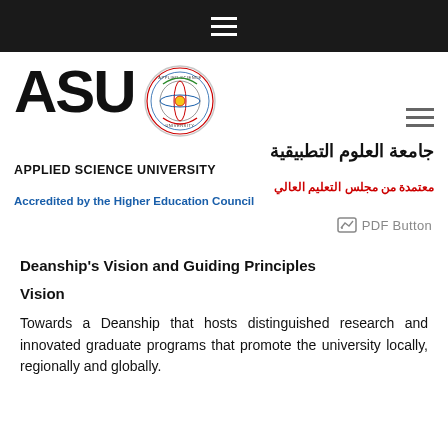[Figure (logo): ASU Applied Science University logo with emblem, Arabic name, English name, and accreditation text]
PDF Button
Deanship's Vision and Guiding Principles
Vision
Towards a Deanship that hosts distinguished research and innovated graduate programs that promote the university locally, regionally and globally.